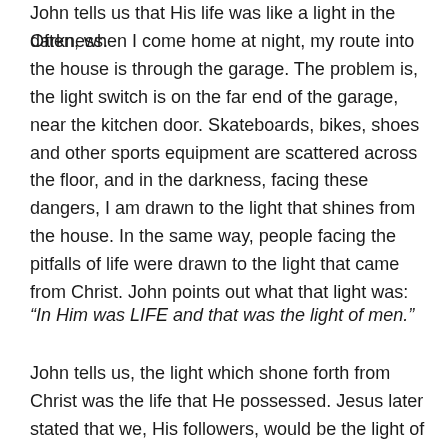John tells us that His life was like a light in the darkness.
Often, when I come home at night, my route into the house is through the garage. The problem is, the light switch is on the far end of the garage, near the kitchen door. Skateboards, bikes, shoes and other sports equipment are scattered across the floor, and in the darkness, facing these dangers, I am drawn to the light that shines from the house. In the same way, people facing the pitfalls of life were drawn to the light that came from Christ. John points out what that light was:
“In Him was LIFE and that was the light of men.”
John tells us, the light which shone forth from Christ was the life that He possessed. Jesus later stated that we, His followers, would be the light of the world; that through us